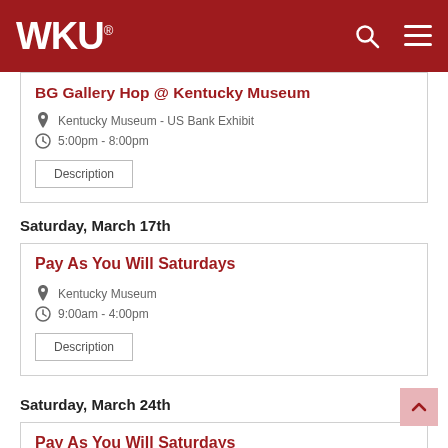WKU
BG Gallery Hop @ Kentucky Museum
Kentucky Museum - US Bank Exhibit
5:00pm - 8:00pm
Description
Saturday, March 17th
Pay As You Will Saturdays
Kentucky Museum
9:00am - 4:00pm
Description
Saturday, March 24th
Pay As You Will Saturdays